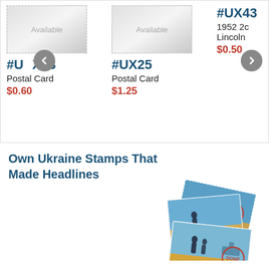Available
Available
#UX43
1952 2c Lincoln
$0.50
#UX28
Postal Card
$0.60
#UX25
Postal Card
$1.25
Own Ukraine Stamps That Made Headlines
[Figure (photo): Three overlapping Ukraine stamps showing a soldier silhouette against ocean/sky background with 'DONE' stamp overlay]
Small supply of famous Ukraine stamps now in stock.
$26.95